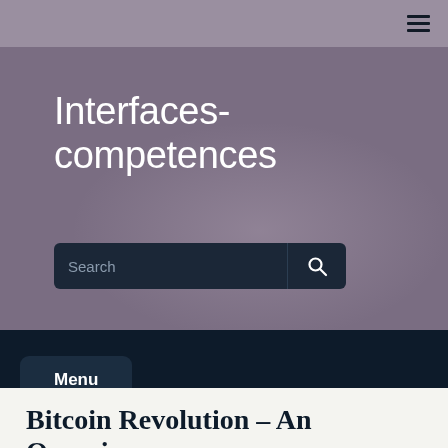Interfaces-competences
[Figure (other): Search bar with text input and search button icon]
Menu
Bitcoin Revolution – An Overview